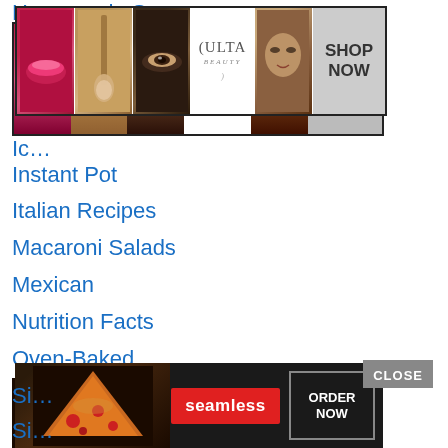Homemade Sausage
[Figure (screenshot): ULTA Beauty advertisement banner with makeup images and SHOP NOW button]
Ice Cream
Instant Pot
Italian Recipes
Macaroni Salads
Mexican
Nutrition Facts
Oven-Baked
Pie Recipe's
Pressure Cooker
Sandwiches
seasonal recipes
Si...
Si...
[Figure (screenshot): Seamless food delivery advertisement with pizza image and ORDER NOW button]